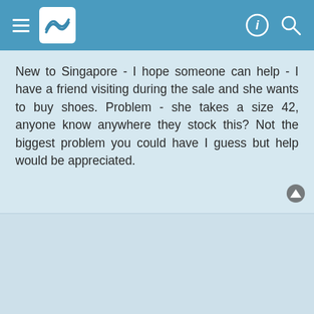Navigation bar with menu, logo, info and search icons
New to Singapore - I hope someone can help - I have a friend visiting during the sale and she wants to buy shoes. Problem - she takes a size 42, anyone know anywhere they stock this? Not the biggest problem you could have I guess but help would be appreciated.